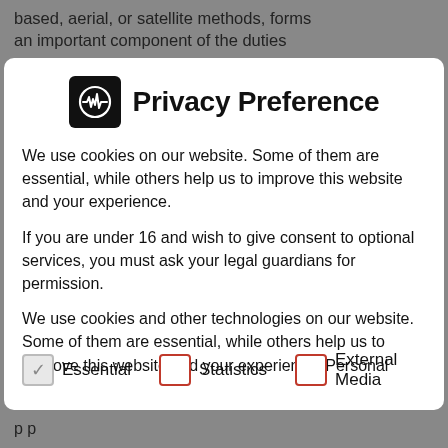based, aerial, or satellite methods, forms an important component of the duties
Privacy Preference
We use cookies on our website. Some of them are essential, while others help us to improve this website and your experience.
If you are under 16 and wish to give consent to optional services, you must ask your legal guardians for permission.
We use cookies and other technologies on our website. Some of them are essential, while others help us to improve this website and your experience. Personal
✓ Essential
☐ Statistics
☐ External Media